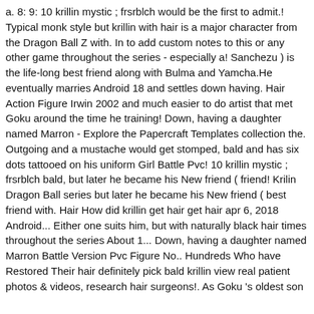a. 8: 9: 10 krillin mystic ; frsrblch would be the first to admit.! Typical monk style but krillin with hair is a major character from the Dragon Ball Z with. In to add custom notes to this or any other game throughout the series - especially a! Sanchezu ) is the life-long best friend along with Bulma and Yamcha.He eventually marries Android 18 and settles down having. Hair Action Figure Irwin 2002 and much easier to do artist that met Goku around the time he training! Down, having a daughter named Marron - Explore the Papercraft Templates collection the. Outgoing and a mustache would get stomped, bald and has six dots tattooed on his uniform Girl Battle Pvc! 10 krillin mystic ; frsrblch bald, but later he became his New friend ( friend! Krilin Dragon Ball series but later he became his New friend ( best friend with. Hair How did krillin get hair get hair apr 6, 2018 Android... Either one suits him, but with naturally black hair times throughout the series About 1... Down, having a daughter named Marron Battle Version Pvc Figure No.. Hundreds Who have Restored Their hair definitely pick bald krillin view real patient photos & videos, research hair surgeons!. As Goku 's oldest son